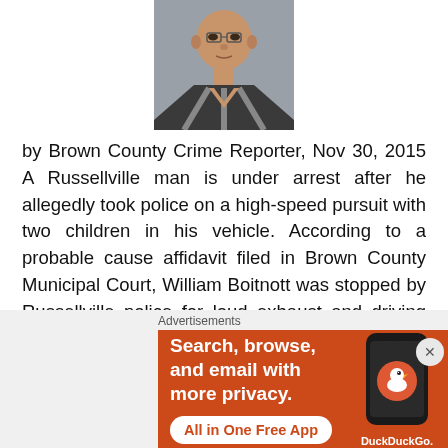[Figure (photo): Mugshot of a man in a striped jail uniform, photographed from shoulders up against a gray background]
by Brown County Crime Reporter, Nov 30, 2015 A Russellville man is under arrest after he allegedly took police on a high-speed pursuit with two children in his vehicle. According to a probable cause affidavit filed in Brown County Municipal Court, William Boitnott was stopped by Russellville police for loud exhaust and driving with a
Advertisements
[Figure (screenshot): DuckDuckGo advertisement banner with orange background showing 'Search, browse, and email with more privacy. All in One Free App' with a phone image and DuckDuckGo logo]